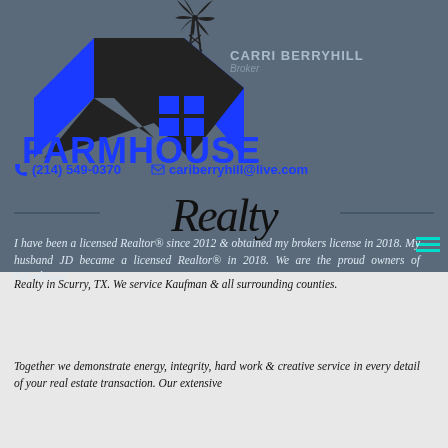[Figure (logo): Farmhouse Realty logo with windmill, house/arrow graphic, and script 'Realty' text in blue and black]
CARRI BERRYHILL
Broker
(214) 549-0370    cariberryhill@live.com
I have been a licensed Realtor® since 2012 & obtained my brokers license in 2018. My husband JD became a licensed Realtor® in 2018. We are the proud owners of Farmhouse Realty in Scurry, TX. We service Kaufman & all surrounding counties.
Together we demonstrate energy, integrity, hard work & creative service in every detail of your real estate transaction. Our extensive